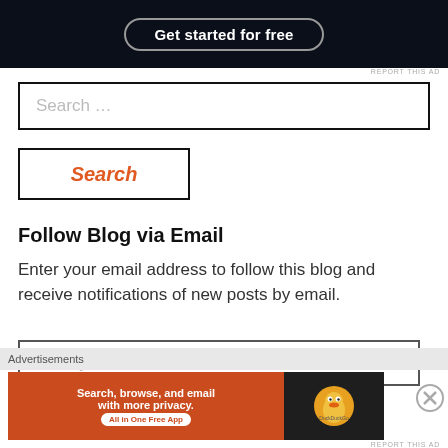[Figure (screenshot): Dark banner ad with 'Get started for free' button]
REPORT THIS AD
Search …
Search
Follow Blog via Email
Enter your email address to follow this blog and receive notifications of new posts by email.
Enter your email address
Advertisements
[Figure (screenshot): DuckDuckGo advertisement banner: Search, browse, and email with more privacy. All in One Free App]
REPORT THIS AD